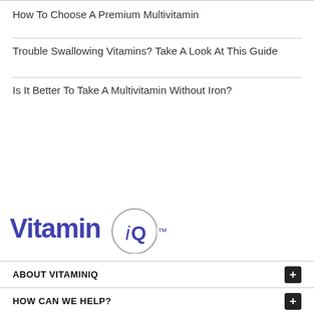How To Choose A Premium Multivitamin
Trouble Swallowing Vitamins? Take A Look At This Guide
Is It Better To Take A Multivitamin Without Iron?
[Figure (logo): VitaminIQ logo with circle graphic and TM mark]
ABOUT VITAMINIQ
HOW CAN WE HELP?
QUICK LINKS